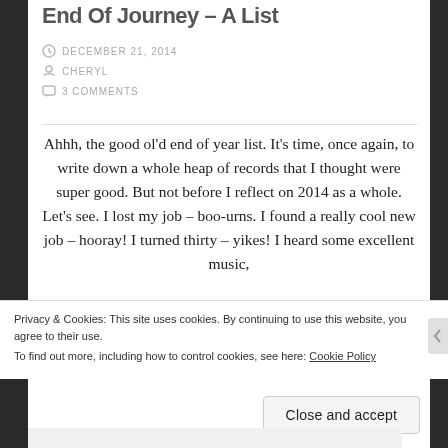End Of Journey – A List
DECEMBER 21, 2014
CHERYL
3 COMMENTS
Ahhh, the good ol'd end of year list. It's time, once again, to write down a whole heap of records that I thought were super good. But not before I reflect on 2014 as a whole. Let's see. I lost my job – boo-urns. I found a really cool new job – hooray! I turned thirty – yikes! I heard some excellent music,
Privacy & Cookies: This site uses cookies. By continuing to use this website, you agree to their use.
To find out more, including how to control cookies, see here: Cookie Policy
Close and accept